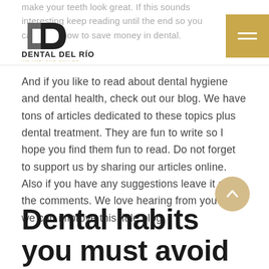make your teeth look great. If this sounds interesting keep reading until the end so you can learn how to save money in dental.
[Figure (logo): Dental Del Rio logo with two overlapping D letters in dark grey and black, with text DENTAL DEL RÍO and WE IMPLANT SMILES below]
And if you like to read about dental hygiene and dental health, check out our blog. We have tons of articles dedicated to these topics plus dental treatment. They are fun to write so I hope you find them fun to read. Do not forget to support us by sharing our articles online. Also if you have any suggestions leave it down the comments. We love hearing from you so we can improve this little blog.
Dental habits you must avoid